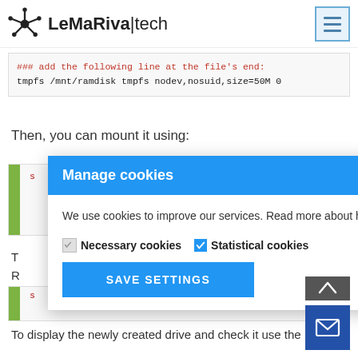LeMaRiva|tech
### add the following line at the file's end:
tmpfs /mnt/ramdisk tmpfs nodev,nosuid,size=50M 0
Then, you can mount it using:
[Figure (screenshot): Manage cookies dialog box with blue header, body text about cookie usage, checkboxes for Necessary and Statistical cookies, and a SAVE SETTINGS button]
To display the newly created drive and check it use the